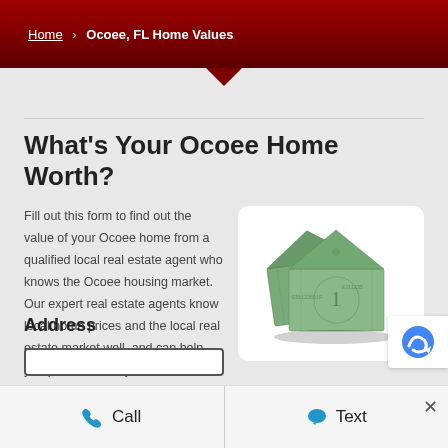Home › Ocoee, FL Home Values
What's Your Ocoee Home Worth?
Fill out this form to find out the value of your Ocoee home from a qualified local real estate agent who knows the Ocoee housing market. Our expert real estate agents know local home prices and the local real estate market well, and can help you price and sell your Ocoee home.
[Figure (illustration): A house made of folded dollar bills on a white rounded-corner card background]
Address
Call   Text